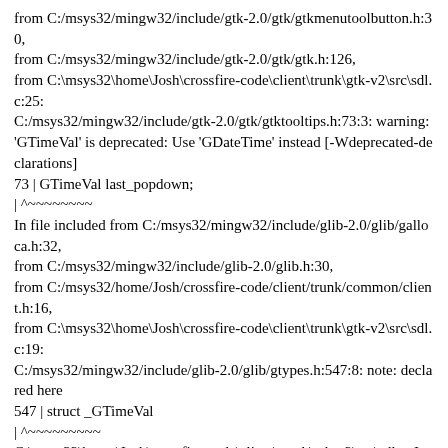from C:/msys32/mingw32/include/gtk-2.0/gtk/gtkmenutoolbutton.h:30,
from C:/msys32/mingw32/include/gtk-2.0/gtk/gtk.h:126,
from C:\msys32\home\Josh\crossfire-code\client\trunk\gtk-v2\src\sdl.c:25:
C:/msys32/mingw32/include/gtk-2.0/gtk/gtktooltips.h:73:3: warning: 'GTimeVal' is deprecated: Use 'GDateTime' instead [-Wdeprecated-declarations]
73 | GTimeVal last_popdown;
| ^~~~~~~~~
In file included from C:/msys32/mingw32/include/glib-2.0/glib/galloca.h:32,
from C:/msys32/mingw32/include/glib-2.0/glib.h:30,
from C:/msys32/home/Josh/crossfire-code/client/trunk/common/client.h:16,
from C:\msys32\home\Josh\crossfire-code\client\trunk\gtk-v2\src\sdl.c:19:
C:/msys32/mingw32/include/glib-2.0/glib/gtypes.h:547:8: note: declared here
547 | struct _GTimeVal
| ^~~~~~~~~~
C:\msys32\home\Josh\crossfire-code\client\trunk\gtk-v2\src\sdl.c: In function 'display_mapcell':
C:\msys32\home\Josh\crossfire-code\client\trunk\gtk-v2\src\sdl.c:895:13: warning: 'mapdata_face' is deprecated [-